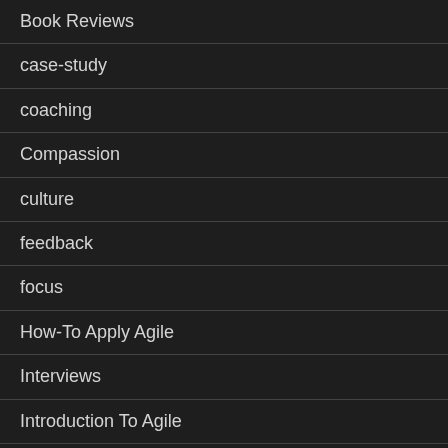Book Reviews
case-study
coaching
Compassion
culture
feedback
focus
How-To Apply Agile
Interviews
Introduction To Agile
Jobs
Kanban
Learning Compassion